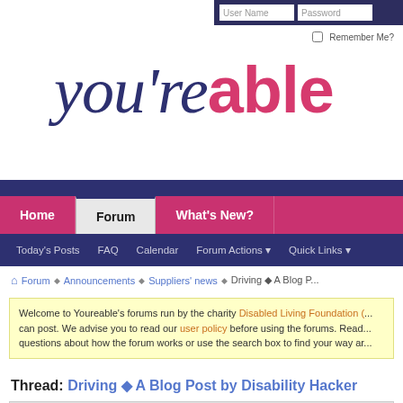User Name | Password | Remember Me?
[Figure (logo): you're able logo - you're in dark blue italic serif, able in pink bold sans-serif]
Home | Forum | What's New? | Today's Posts | FAQ | Calendar | Forum Actions | Quick Links
Forum > Announcements > Suppliers' news > Driving ◆ A Blog P...
Welcome to Youreable's forums run by the charity Disabled Living Foundation (...) can post. We advise you to read our user policy before using the forums. Read... questions about how the forum works or use the search box to find your way ar...
Thread: Driving ◆ A Blog Post by Disability Hacker
Threa...
28-05-13 10:21
Get Going Live
Guest
Driving ◆ A Blog Post by D...